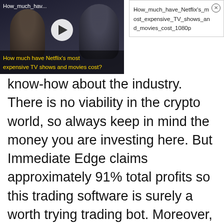[Figure (screenshot): Video thumbnail showing two silhouetted figures against dark background with play button and caption 'How much have Netflix's most expensive TV shows and movies cost?'. Label at top left reads 'How_much_hav...']
How_much_have_Netflix's_most_expensive_TV_shows_and_movies_cost_1080p
know-how about the industry. There is no viability in the crypto world, so always keep in mind the money you are investing here. But Immediate Edge claims approximately 91% total profits so this trading software is surely a worth trying trading bot. Moreover, it has gathered fame and traders highly satisfied by the remarkable features it.